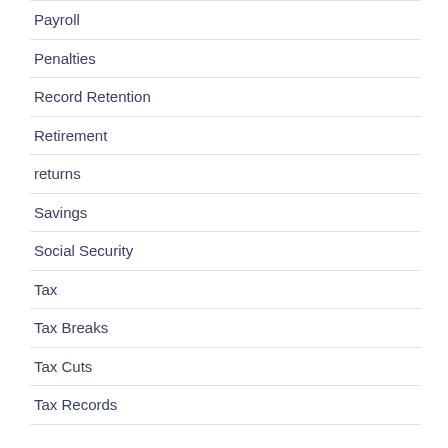| Payroll |
| Penalties |
| Record Retention |
| Retirement |
| returns |
| Savings |
| Social Security |
| Tax |
| Tax Breaks |
| Tax Cuts |
| Tax Records |